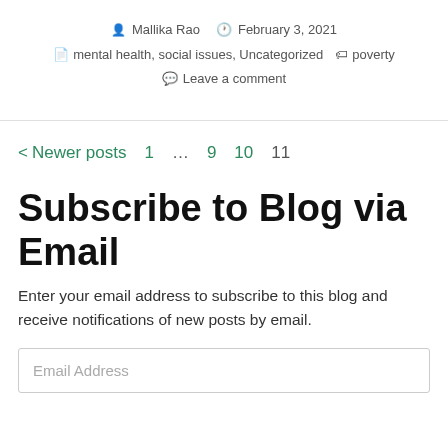Mallika Rao   February 3, 2021   mental health, social issues, Uncategorized   poverty   Leave a comment
< Newer posts   1   …   9   10   11
Subscribe to Blog via Email
Enter your email address to subscribe to this blog and receive notifications of new posts by email.
Email Address